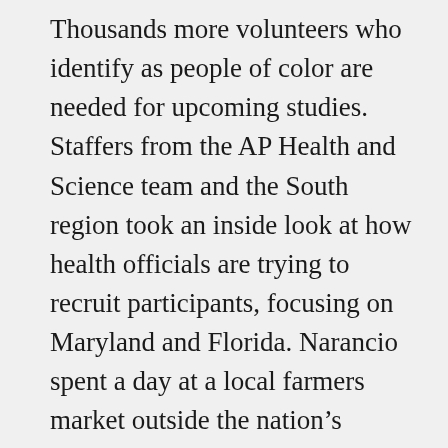Thousands more volunteers who identify as people of color are needed for upcoming studies. Staffers from the AP Health and Science team and the South region took an inside look at how health officials are trying to recruit participants, focusing on Maryland and Florida. Narancio spent a day at a local farmers market outside the nation’s capital where “promotoras,” or health promoters, are working to sign up Latinos for the vaccine being tested by the National Institutes of Health and Moderna. Neergard used her contacts to get access to the University of Miami,